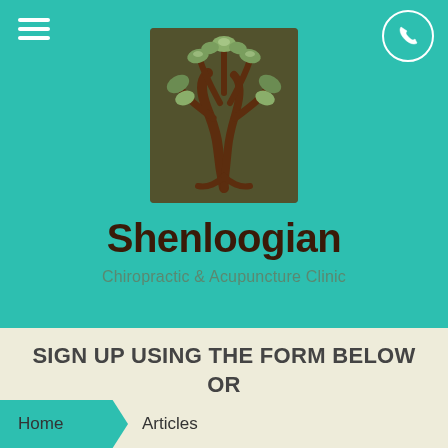[Figure (logo): Shenloogian Chiropractic & Acupuncture Clinic logo: stylized tree with green leaves on dark olive/brown square background]
Shenloogian
Chiropractic & Acupuncture Clinic
SIGN UP USING THE FORM BELOW OR CALL US 918-933-5445.
Home > Articles